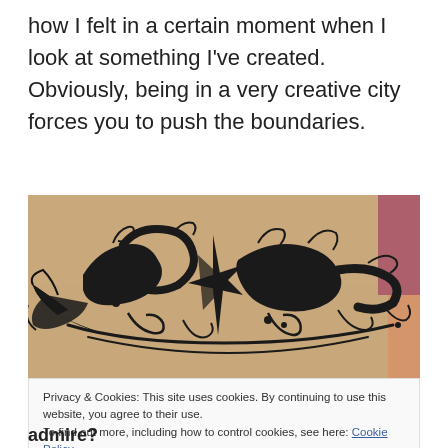how I felt in a certain moment when I look at something I've created. Obviously, being in a very creative city forces you to push the boundaries.
[Figure (photo): A close-up photograph of a tattoo on skin, featuring ornate black tribal/graffiti-style lettering with decorative swirls and flourishes.]
Privacy & Cookies: This site uses cookies. By continuing to use this website, you agree to their use.
To find out more, including how to control cookies, see here: Cookie Policy
admire?